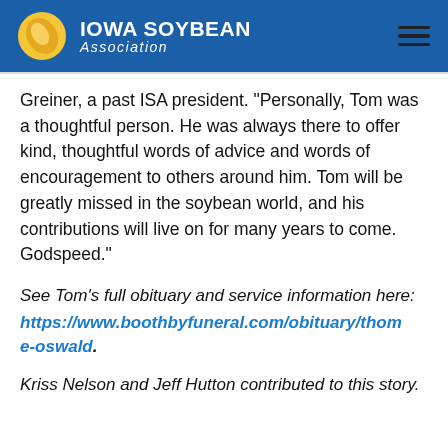Iowa Soybean Association
Greiner, a past ISA president. “Personally, Tom was a thoughtful person. He was always there to offer kind, thoughtful words of advice and words of encouragement to others around him. Tom will be greatly missed in the soybean world, and his contributions will live on for many years to come. Godspeed.”
See Tom’s full obituary and service information here: https://www.boothbyfuneral.com/obituary/thome-oswald.
Kriss Nelson and Jeff Hutton contributed to this story.